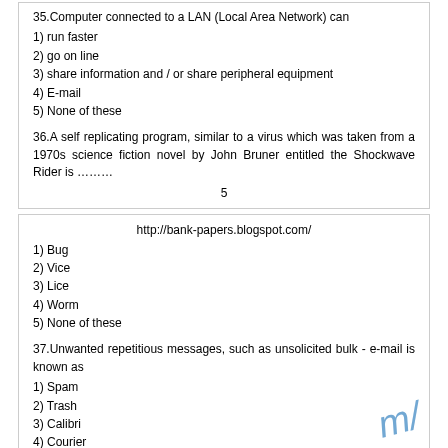35.Computer connected to a LAN (Local Area Network) can
1) run faster
2) go on line
3) share information and / or share peripheral equipment
4) E-mail
5) None of these
36.A self replicating program, similar to a virus which was taken from a 1970s science fiction novel by John Bruner entitled the Shockwave Rider is ………
5
http://bank-papers.blogspot.com/
1) Bug
2) Vice
3) Lice
4) Worm
5) None of these
37.Unwanted repetitious messages, such as unsolicited bulk - e-mail is known as
1) Spam
2) Trash
3) Calibri
4) Courier
5) None of these
38.COBOL is widely used in ………… applications
1) Commercial
2) Scientific